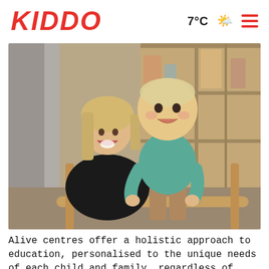KIDDO
7°C
[Figure (photo): A smiling adult woman with blonde straight hair wearing a black top, crouching behind a toddler in a teal/turquoise knit sweater who is standing and gripping a wooden bar/ladder, both inside a childcare centre with wooden shelving in the background.]
Alive centres offer a holistic approach to education, personalised to the unique needs of each child and family, regardless of their primary or secondary education choices